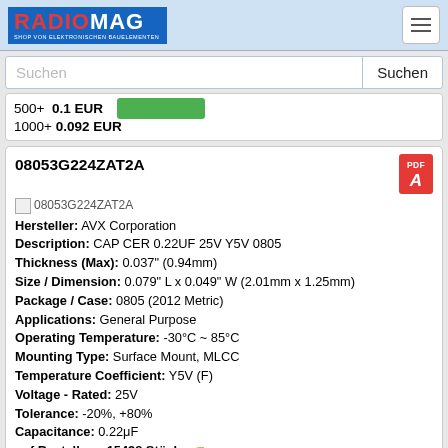[Figure (logo): RADIOMAG logo - Shop von elektronischen Bauelementen]
Suchen
500+  0.1 EUR
1000+  0.092 EUR
08053G224ZAT2A
Hersteller: AVX Corporation
Description: CAP CER 0.22UF 25V Y5V 0805
Thickness (Max): 0.037" (0.94mm)
Size / Dimension: 0.079" L x 0.049" W (2.01mm x 1.25mm)
Package / Case: 0805 (2012 Metric)
Applications: General Purpose
Operating Temperature: -30°C ~ 85°C
Mounting Type: Surface Mount, MLCC
Temperature Coefficient: Y5V (F)
Voltage - Rated: 25V
Tolerance: -20%, +80%
Capacitance: 0.22μF
auf Bestellung 15498 Stücke
Lieferzeit 21-28 Tag (e)
auf Bestellung 41000 Stücke - Preis und Lieferfrist anzeigen